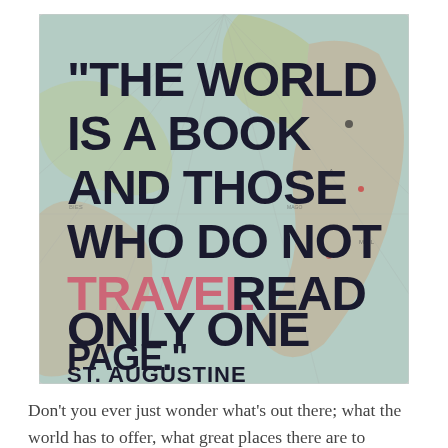[Figure (illustration): A vintage world map background with bold dark text overlaid reading: "THE WORLD IS A BOOK AND THOSE WHO DO NOT TRAVEL READ ONLY ONE PAGE." with the word TRAVEL in pink/salmon color, and below: ST. AUGUSTINE]
Don't you ever just wonder what's out there; what the world has to offer, what great places there are to discover, and people there are to meet? I do. I always